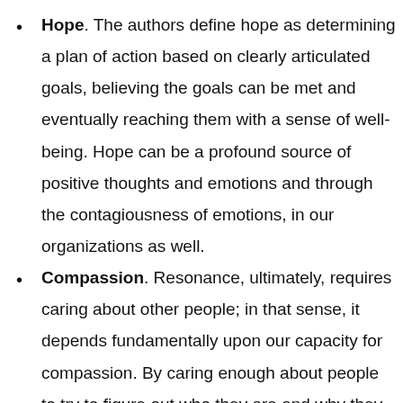Hope. The authors define hope as determining a plan of action based on clearly articulated goals, believing the goals can be met and eventually reaching them with a sense of well-being. Hope can be a profound source of positive thoughts and emotions and through the contagiousness of emotions, in our organizations as well.
Compassion. Resonance, ultimately, requires caring about other people; in that sense, it depends fundamentally upon our capacity for compassion. By caring enough about people to try to figure out who they are and why they behave the way they do, the